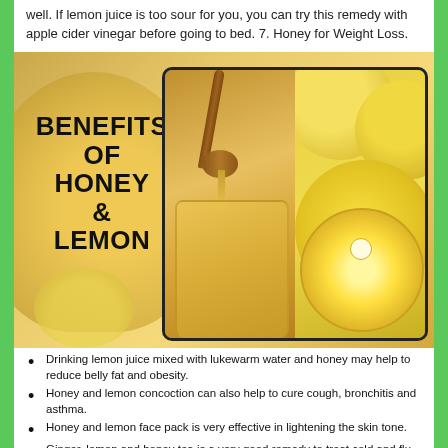well. If lemon juice is too sour for you, you can try this remedy with apple cider vinegar before going to bed. 7. Honey for Weight Loss.
[Figure (infographic): Infographic showing benefits of honey and lemon. Left side has bold text 'BENEFITS OF HONEY & LEMON' overlaid on a honey jar background. Center/right shows a bordered composite photo of a honey jar with dripping honey dipper (left half) and lemons/lemon half cross-section (right half). Bottom has a lemon and honey jar in background.]
Drinking lemon juice mixed with lukewarm water and honey may help to reduce belly fat and obesity.
Honey and lemon concoction can also help to cure cough, bronchitis and asthma.
Honey and lemon face pack is very effective in lightening the skin tone.
Ginger, lemon and honey tea is a very good remedy to treat cold and flu.
Honey and lemon tonic is very useful to treat digestive issues.